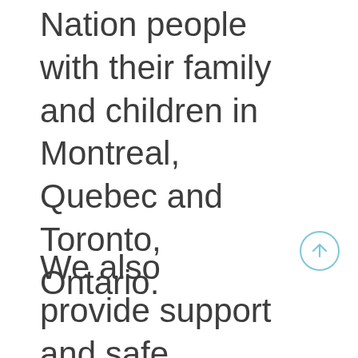Nation people with their family and children in Montreal, Quebec and Toronto, Ontario.
We also provide support and safe shelter for refugees with
[Figure (other): Circular scroll-to-top button with upward arrow, light blue outline and arrow icon]